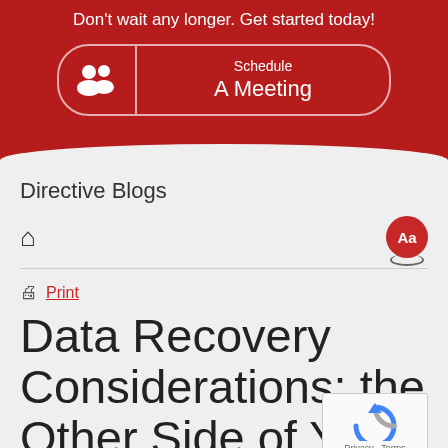Don't wait any longer. Get started today!
[Figure (illustration): Schedule A Meeting button with user/group icon on dark red background]
Directive Blogs
[Figure (infographic): Navigation bar with home icon and Aa font size circle button]
Print
Data Recovery Considerations: the Other Side of Your